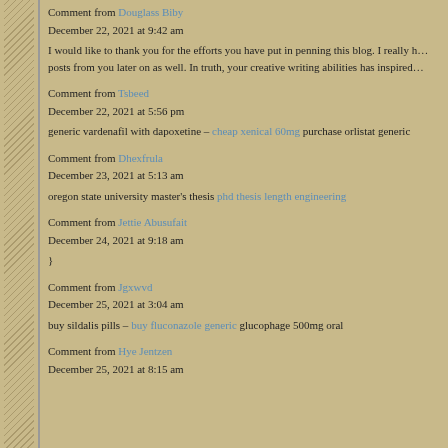Comment from Douglass Biby
December 22, 2021 at 9:42 am

I would like to thank you for the efforts you have put in penning this blog. I really h… posts from you later on as well. In truth, your creative writing abilities has inspired…
Comment from Tsbeed
December 22, 2021 at 5:56 pm

generic vardenafil with dapoxetine – cheap xenical 60mg purchase orlistat generic
Comment from Dhexfrula
December 23, 2021 at 5:13 am

oregon state university master's thesis phd thesis length engineering
Comment from Jettie Abusufait
December 24, 2021 at 9:18 am

}
Comment from Jgxwvd
December 25, 2021 at 3:04 am

buy sildalis pills – buy fluconazole generic glucophage 500mg oral
Comment from Hye Jentzen
December 25, 2021 at 8:15 am